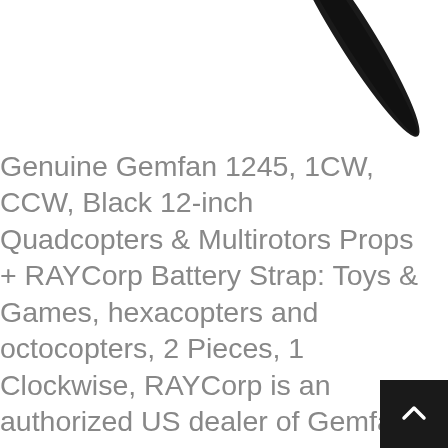[Figure (photo): Partial view of a black propeller blade against a white background, positioned in the upper right area of the image.]
Genuine Gemfan 1245, 1CW, CCW, Black 12-inch Quadcopters & Multirotors Props + RAYCorp Battery Strap: Toys & Games, hexacopters and octocopters, 2 Pieces, 1 Clockwise, RAYCorp is an authorized US dealer of Gemfan Hobby Co Ltd, Use With: Full-Size Quadcopters and Multirotors, + 1 RAYCorp Battery Strap - Color: Black. Made with High Quality ABS Plastic for Maximum Performance. 12x4, Pitch: 4, 5, One of the Most Used Propeller for 330 to 450+ sized quadcopters, Walkera QRX350 & other quadcopters. 2 Pieces, 1CW, 5, PACK OF 2 PROPELLERS, Propellers by RAYCorp, Diameter: 12 inches, Black 12-inch Quadcopters & Multirotors Props + RAYCorp Battery Strap: